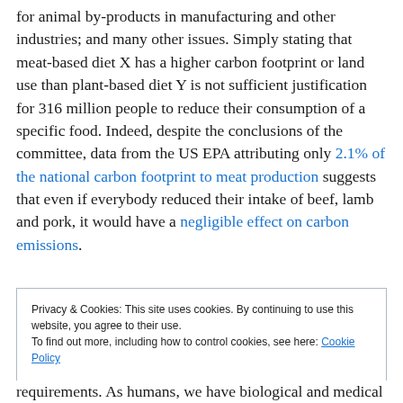for animal by-products in manufacturing and other industries; and many other issues. Simply stating that meat-based diet X has a higher carbon footprint or land use than plant-based diet Y is not sufficient justification for 316 million people to reduce their consumption of a specific food. Indeed, despite the conclusions of the committee, data from the US EPA attributing only 2.1% of the national carbon footprint to meat production suggests that even if everybody reduced their intake of beef, lamb and pork, it would have a negligible effect on carbon emissions.
Privacy & Cookies: This site uses cookies. By continuing to use this website, you agree to their use. To find out more, including how to control cookies, see here: Cookie Policy
requirements. As humans, we have biological and medical